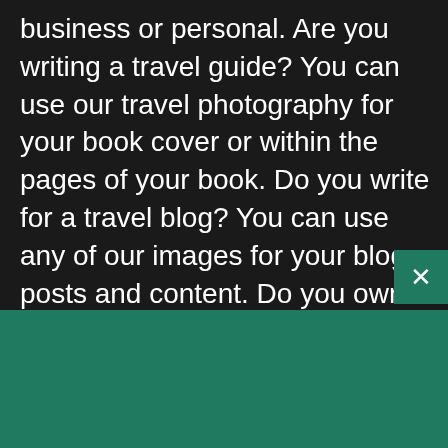business or personal. Are you writing a travel guide? You can use our travel photography for your book cover or within the pages of your book. Do you write for a travel blog? You can use any of our images for your blog posts and content. Do you own a travel accessories store? You can use our travel images for your website, marketing materials, or even as decor for your store. Are you a student writing an assignment on modes of travel or a specific country? You’re free to use our travel pictures for your essays, presentations, assignments and more. With our Creative Commons Zero license the possibilities are
[Figure (logo): Shopify logo with bag icon and wordmark in white on green background]
Need an online store for your business?
Start free trial